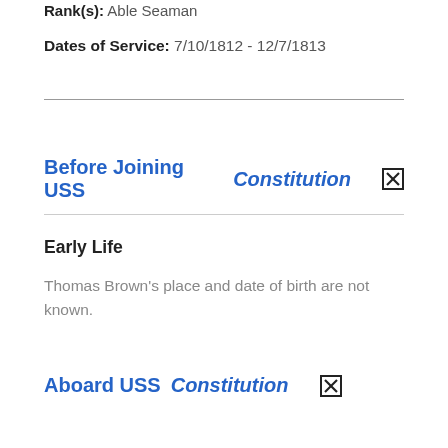Rank(s): Able Seaman
Dates of Service: 7/10/1812 - 12/7/1813
Before Joining USS Constitution
Early Life
Thomas Brown's place and date of birth are not known.
Aboard USS Constitution